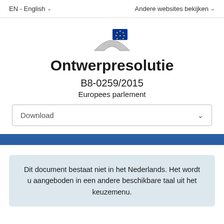EN - English ∨    Andere websites bekijken ∨
[Figure (logo): European Parliament logo — stylized hemicycle with EU flag stars]
Ontwerpresolutie
B8-0259/2015
Europees parlement
Download ∨
Dit document bestaat niet in het Nederlands. Het wordt u aangeboden in een andere beschikbare taal uit het keuzemenu.